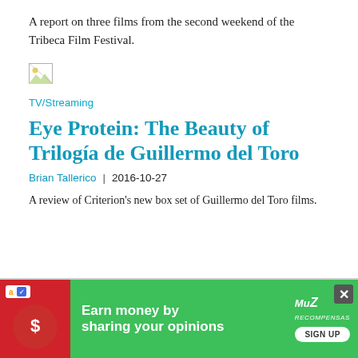A report on three films from the second weekend of the Tribeca Film Festival.
[Figure (other): Broken/missing image placeholder icon]
TV/Streaming
Eye Protein: The Beauty of Trilogía de Guillermo del Toro
Brian Tallerico  |  2016-10-27
A review of Criterion's new box set of Guillermo del Toro films.
[Figure (other): Advertisement banner: green background with red image area. Text reads 'Earn money by sharing your opinions' with Amazon logo and SIGN UP button. Close button (X) in top right corner.]